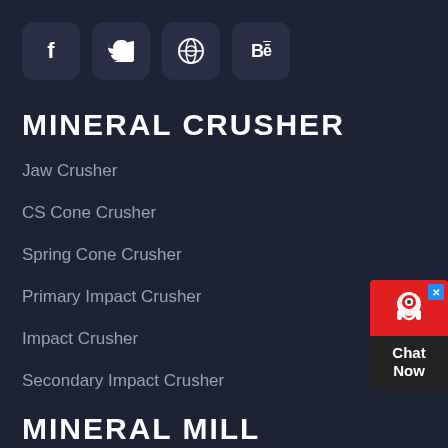[Figure (other): Social media icon buttons: Facebook (f), Twitter (bird), Dribbble (ball), Behance (Be)]
MINERAL CRUSHER
Jaw Crusher
CS Cone Crusher
Spring Cone Crusher
Primary Impact Crusher
Impact Crusher
Secondary Impact Crusher
[Figure (other): Live chat widget with red top section containing a headset icon and blue X close button, dark bottom section with 'Chat Now' text]
MINERAL MILL